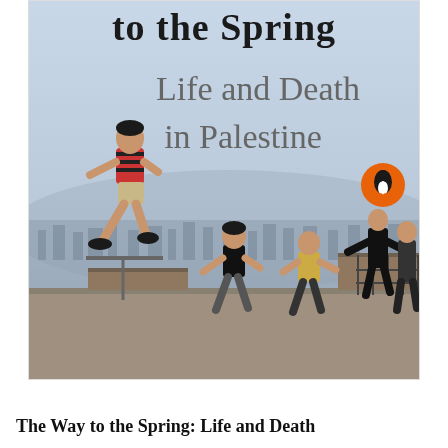[Figure (photo): Book cover of 'The Way to the Spring: Life and Death in Palestine'. The cover shows a photograph of children playing on rooftops with a city skyline in the background. A boy in a striped shirt is mid-jump on the left, while other children are visible in the background. The cover text reads 'to the Spring' at the top, followed by 'Life and Death in Palestine' in large grey serif text. An orange Penguin Books logo is visible on the right side.]
The Way to the Spring: Life and Death